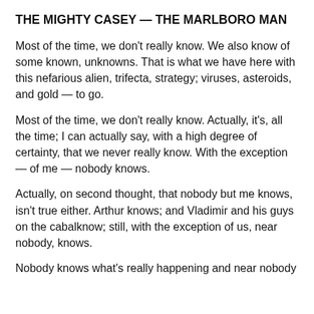THE MIGHTY CASEY — THE MARLBORO MAN
Most of the time, we don't really know. We also know of some known, unknowns. That is what we have here with this nefarious alien, trifecta, strategy; viruses, asteroids, and gold — to go.
Most of the time, we don't really know. Actually, it's, all the time; I can actually say, with a high degree of certainty, that we never really know. With the exception — of me — nobody knows.
Actually, on second thought, that nobody but me knows, isn't true either. Arthur knows; and Vladimir and his guys on the cabalknow; still, with the exception of us, near nobody, knows.
Nobody knows what's really happening and near nobody